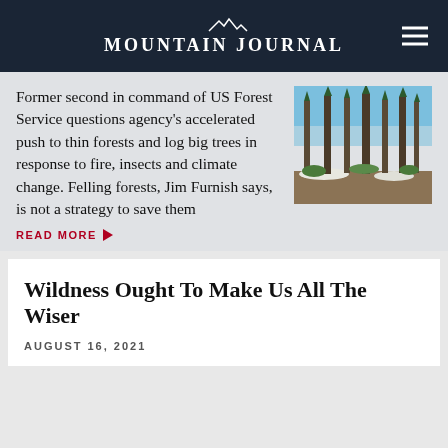Mountain Journal
Former second in command of US Forest Service questions agency's accelerated push to thin forests and log big trees in response to fire, insects and climate change. Felling forests, Jim Furnish says, is not a strategy to save them
[Figure (photo): Photo of a thinned forest with tall pine trees and cleared ground, blue sky visible]
READ MORE ▶
Wildness Ought To Make Us All The Wiser
AUGUST 16, 2021